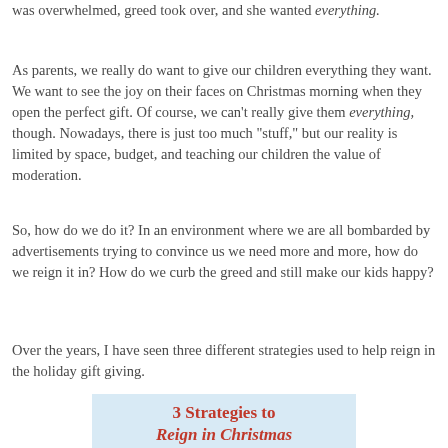was overwhelmed, greed took over, and she wanted everything.
As parents, we really do want to give our children everything they want. We want to see the joy on their faces on Christmas morning when they open the perfect gift. Of course, we can't really give them everything, though. Nowadays, there is just too much "stuff," but our reality is limited by space, budget, and teaching our children the value of moderation.
So, how do we do it? In an environment where we are all bombarded by advertisements trying to convince us we need more and more, how do we reign it in? How do we curb the greed and still make our kids happy?
Over the years, I have seen three different strategies used to help reign in the holiday gift giving.
[Figure (illustration): Decorative banner/image with text '3 Strategies to Reign in Christmas' in red lettering on a light blue background]